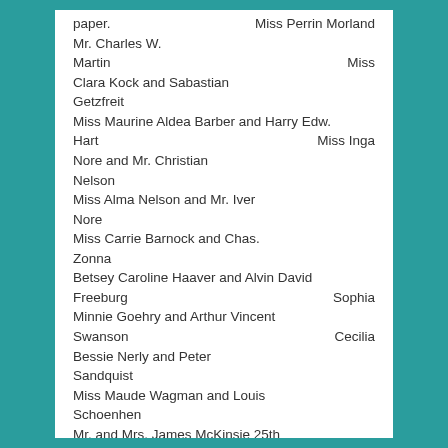paper. Miss Perrin Morland
Mr. Charles W. Martin    Miss Clara Kock and Sabastian Getzfreit
Miss Maurine Aldea Barber and Harry Edw. Hart    Miss Inga Nore and Mr. Christian Nelson
Miss Alma Nelson and Mr. Iver Nore
Miss Carrie Barnock and Chas. Zonna
Betsey Caroline Haaver and Alvin David Freeburg    Sophia Minnie Goehry and Arthur Vincent Swanson    Cecilia Bessie Nerly and Peter Sandquist
Miss Maude Wagman and Louis Schoenhen
Mr. and Mrs. James McKinsie 25th